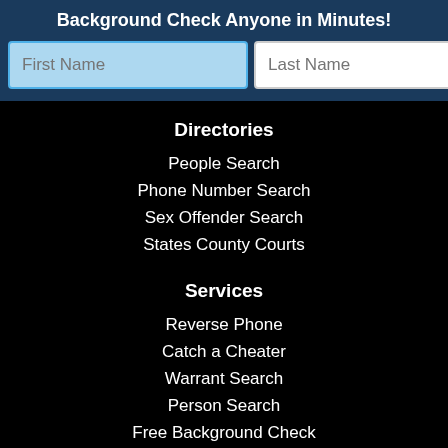Background Check Anyone in Minutes!
[Figure (screenshot): Search form with First Name and Last Name input fields and a green search button]
Directories
People Search
Phone Number Search
Sex Offender Search
States County Courts
Services
Reverse Phone
Catch a Cheater
Warrant Search
Person Search
Free Background Check